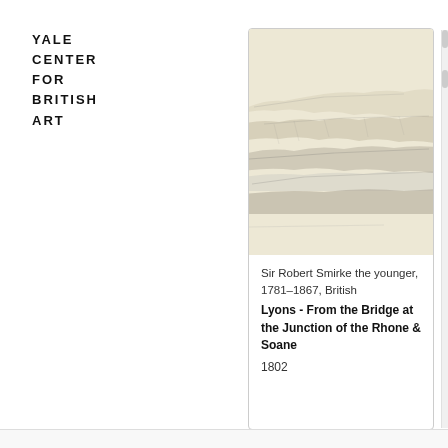YALE CENTER FOR BRITISH ART
<< YCBA HOME
[Figure (illustration): Pencil sketch landscape drawing showing a wide panoramic view of Lyons from the bridge at the junction of the Rhone and Saone rivers, rendered in light graphite lines on cream paper.]
Sir Robert Smirke the younger, 1781–1867, British
Lyons - From the Bridge at the Junction of the Rhone & Soane
1802